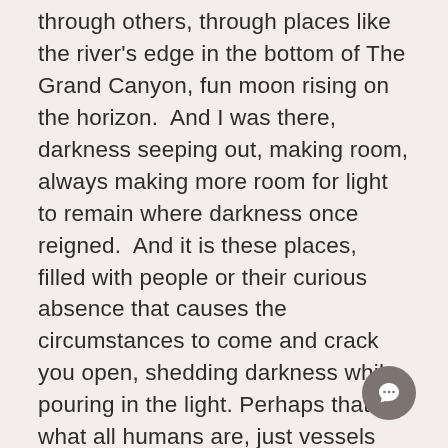through others, through places like the river's edge in the bottom of The Grand Canyon, fun moon rising on the horizon.  And I was there, darkness seeping out, making room, always making more room for light to remain where darkness once reigned.  And it is these places, filled with people or their curious absence that causes the circumstances to come and crack you open, shedding darkness while pouring in the light.  Perhaps that is what all humans are, just vessels capable of changing darkness into light...but it just takes us forever to know this, and so instead we walk the earth accumulating darkness, never realising that we are here only to
[Figure (other): Chat button icon (circular grey button with speech bubble icon)]